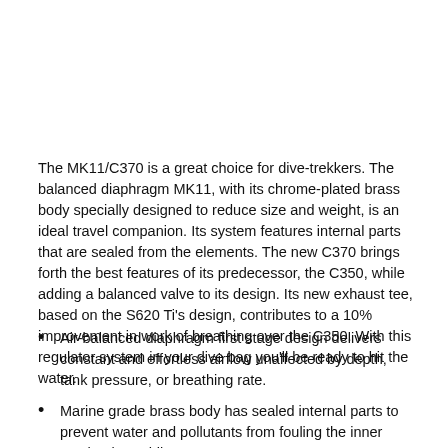The MK11/C370 is a great choice for dive-trekkers. The balanced diaphragm MK11, with its chrome-plated brass body specially designed to reduce size and weight, is an ideal travel companion. Its system features internal parts that are sealed from the elements. The new C370 brings forth the best features of its predecessor, the C350, while adding a balanced valve to its design. Its new exhaust tee, based on the S620 Ti's design, contributes to a 10% improvement in work of breathing over the C350. With this regulator system in your dive bag you'll be ready to hit the water.
Air-balanced diaphragm first stage design delivers constant and effortless airflow unaffected by depth, tank pressure, or breathing rate.
Marine grade brass body has sealed internal parts to prevent water and pollutants from fouling the inner mechanism while